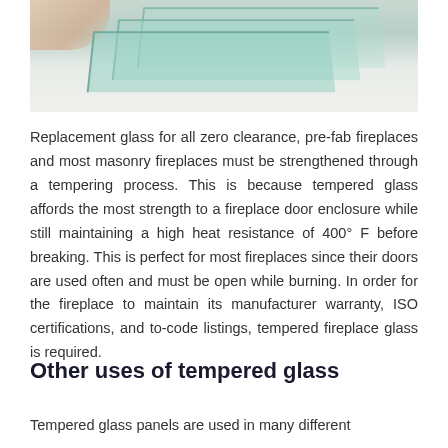[Figure (photo): Close-up photo of stacked tempered glass panels with greenish tint, with a hand visible at top left]
Replacement glass for all zero clearance, pre-fab fireplaces and most masonry fireplaces must be strengthened through a tempering process. This is because tempered glass affords the most strength to a fireplace door enclosure while still maintaining a high heat resistance of 400° F before breaking. This is perfect for most fireplaces since their doors are used often and must be open while burning. In order for the fireplace to maintain its manufacturer warranty, ISO certifications, and to-code listings, tempered fireplace glass is required.
Other uses of tempered glass
Tempered glass panels are used in many different